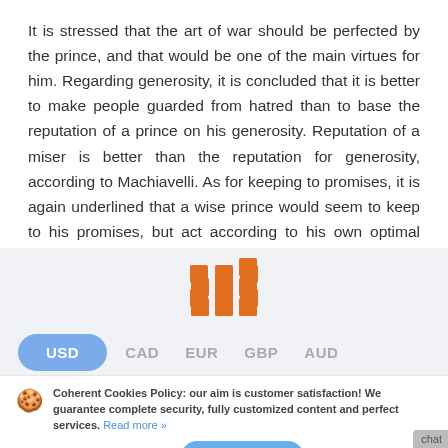It is stressed that the art of war should be perfected by the prince, and that would be one of the main virtues for him. Regarding generosity, it is concluded that it is better to make people guarded from hatred than to base the reputation of a prince on his generosity. Reputation of a miser is better than the reputation for generosity, according to Machiavelli. As for keeping to promises, it is again underlined that a wise prince would seem to keep to his promises, but act according to his own optimal choices.
[Figure (logo): Orange grid/bar chart logo icon — 3x2 grid of squares with the top-right column taller, resembling a bar chart logo]
USD
CAD
EUR
GBP
AUD
Coherent Cookies Policy: our aim is customer satisfaction! We guarantee complete security, fully customized content and perfect services. Read more »
It's Ok